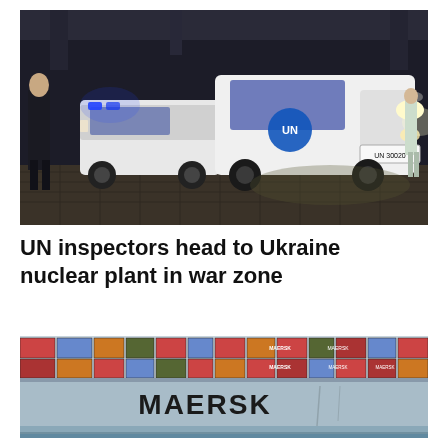[Figure (photo): UN white SUV vehicles (Toyota Land Cruisers) moving at night in a covered area, with blue flashing lights visible. A man in a dark suit stands to the left. UN logo visible on the lead vehicle. License plate reads UN 3020.]
UN inspectors head to Ukraine nuclear plant in war zone
[Figure (photo): Side view of a large Maersk container ship loaded with colorful shipping containers (red, blue, orange). The word MAERSK is written in large black letters on the blue hull of the ship.]